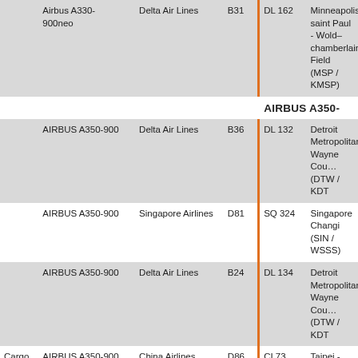|  | Aircraft | Airline | Gate |  | Flight | Destination |
| --- | --- | --- | --- | --- | --- | --- |
|  | Airbus A330-900neo | Delta Air Lines | B31 |  | DL 162 | Minneapolis saint Paul - Wold–chamberlain Field (MSP / KMSP) |
|  |  |  |  |  |  | AIRBUS A350- |
|  | AIRBUS A350-900 | Delta Air Lines | B36 |  | DL 132 | Detroit Metropolitan Wayne County (DTW / KDT |
|  | AIRBUS A350-900 | Singapore Airlines | D81 |  | SQ 324 | Singapore Changi (SIN / WSSS) |
|  | AIRBUS A350-900 | Delta Air Lines | B24 |  | DL 134 | Detroit Metropolitan Wayne County (DTW / KDT |
| Cargo | AIRBUS A350-900 | China Airlines | D86 |  | CI 73 | Taipei - Taiwan Taoyuan (TR / RCTP) |
|  | AIRBUS A350-900 | Finnair | B20 |  | AY 1301 | Helsinki |